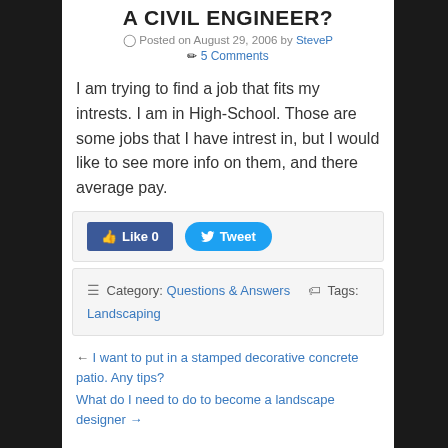A CIVIL ENGINEER?
Posted on August 29, 2006 by SteveP
5 Comments
I am trying to find a job that fits my intrests. I am in High-School. Those are some jobs that I have intrest in, but I would like to see more info on them, and there average pay.
[Figure (other): Social sharing buttons: Like 0 (Facebook) and Tweet (Twitter)]
Category: Questions & Answers   Tags: Landscaping
← I want to put in a stamped decorative concrete patio. Any tips?
What do I need to do to become a landscape designer →